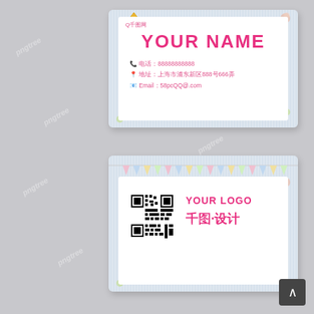[Figure (illustration): Business card front side template with light blue striped border, crown decoration top-left, floral decoration corners, pink text showing YOUR NAME, phone, address, and email contact info with Q千图网 branding]
[Figure (illustration): Business card back side template with light blue striped border, colorful pennant banner at top, crown and floral decorations at corners, QR code on the left, YOUR LOGO text and 千图·设计 text on the right in pink]